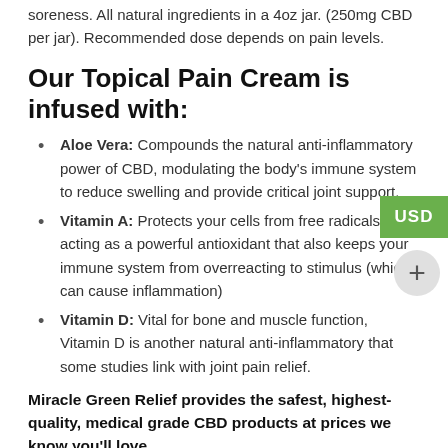soreness. All natural ingredients in a 4oz jar. (250mg CBD per jar). Recommended dose depends on pain levels.
Our Topical Pain Cream is infused with:
Aloe Vera: Compounds the natural anti-inflammatory power of CBD, modulating the body's immune system to reduce swelling and provide critical joint support.
Vitamin A: Protects your cells from free radicals by acting as a powerful antioxidant that also keeps your immune system from overreacting to stimulus (which can cause inflammation)
Vitamin D: Vital for bone and muscle function, Vitamin D is another natural anti-inflammatory that some studies link with joint pain relief.
Miracle Green Relief provides the safest, highest-quality, medical grade CBD products at prices we know you'll love.